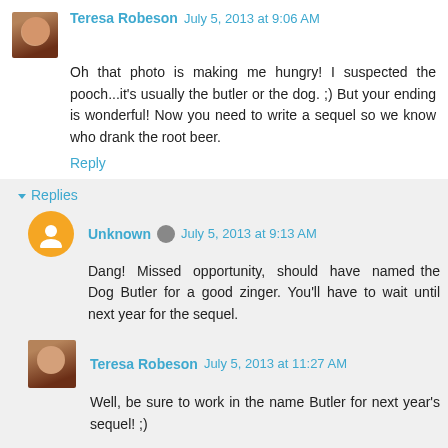Teresa Robeson  July 5, 2013 at 9:06 AM
Oh that photo is making me hungry! I suspected the pooch...it's usually the butler or the dog. ;) But your ending is wonderful! Now you need to write a sequel so we know who drank the root beer.
Reply
Replies
Unknown  July 5, 2013 at 9:13 AM
Dang! Missed opportunity, should have named the Dog Butler for a good zinger. You'll have to wait until next year for the sequel.
Teresa Robeson  July 5, 2013 at 11:27 AM
Well, be sure to work in the name Butler for next year's sequel! ;)